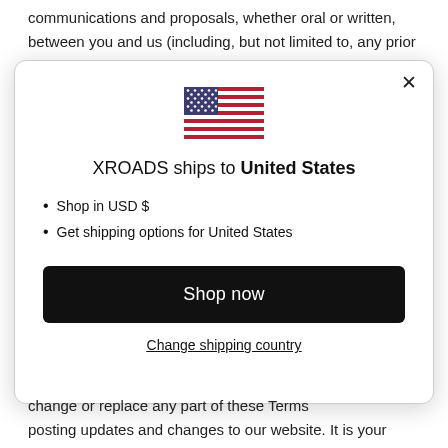communications and proposals, whether oral or written, between you and us (including, but not limited to, any prior
[Figure (screenshot): Modal dialog with US flag icon, title 'XROADS ships to United States', bullet points listing 'Shop in USD $' and 'Get shipping options for United States', a black 'Shop now' button, and a 'Change shipping country' link. Close (X) button in top right.]
change or replace any part of these Terms posting updates and changes to our website. It is your